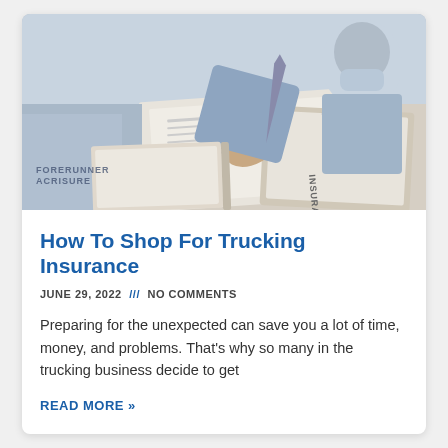[Figure (photo): Close-up of two businesspeople at a desk, one signing an insurance policy document with a pen, the other person's hands visible across the table. A clipboard with insurance documents is visible.]
How To Shop For Trucking Insurance
JUNE 29, 2022 /// NO COMMENTS
Preparing for the unexpected can save you a lot of time, money, and problems. That's why so many in the trucking business decide to get
READ MORE »